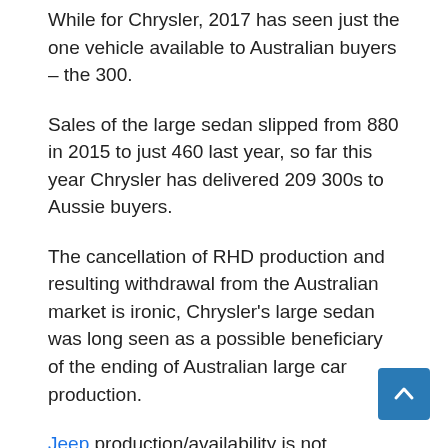While for Chrysler, 2017 has seen just the one vehicle available to Australian buyers – the 300.
Sales of the large sedan slipped from 880 in 2015 to just 460 last year, so far this year Chrysler has delivered 209 300s to Aussie buyers.
The cancellation of RHD production and resulting withdrawal from the Australian market is ironic, Chrysler's large sedan was long seen as a possible beneficiary of the ending of Australian large car production.
Jeep production/availability is not expected to be affected, along with Fiat Chrysler's Italian brands – Alfa Romeo and Fiat.
We will keep you updated as any further info on the reported closure of RHD Chrysler/Dodge production